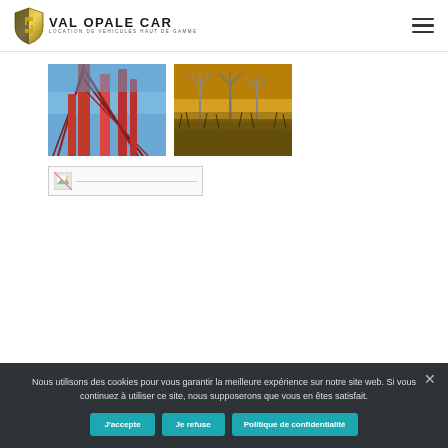[Figure (logo): Val Opale Car logo with shield icon and text 'VAL OPALE CAR - LOCATION DE VEHICULES HAUT DE GAMME']
[Figure (photo): Close-up photo of a red metal bridge structure against blue sky]
[Figure (photo): Wind turbines in a field at sunset with golden sky]
[Figure (photo): Broken/missing image placeholder thumbnail]
Nous utilisons des cookies pour vous garantir la meilleure expérience sur notre site web. Si vous continuez à utiliser ce site, nous supposerons que vous en êtes satisfait.
J'accepte
Je refuse
Politique de confidentialité